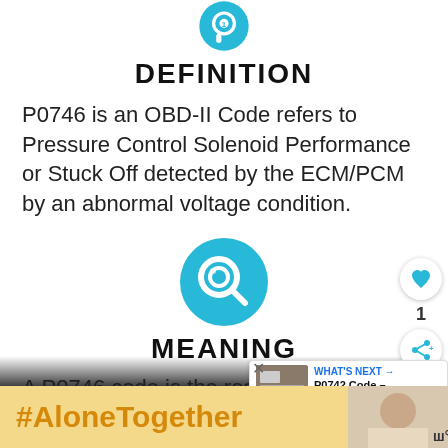[Figure (illustration): Teal/cyan circle icon with a chat/speech bubble symbol, partially visible at top]
DEFINITION
P0746 is an OBD-II Code refers to Pressure Control Solenoid Performance or Stuck Off detected by the ECM/PCM by an abnormal voltage condition.
[Figure (illustration): Teal/cyan circle icon with a magnifying glass search symbol]
MEANING
A P0746 code is the result of the ECM (Engine Co... creating a pr...